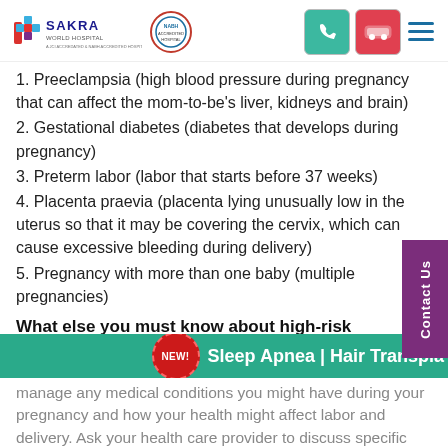[Figure (logo): Sakra World Hospital logo with cross symbol and accreditation badge]
1. Preeclampsia (high blood pressure during pregnancy that can affect the mom-to-be's liver, kidneys and brain)
2. Gestational diabetes (diabetes that develops during pregnancy)
3. Preterm labor (labor that starts before 37 weeks)
4. Placenta praevia (placenta lying unusually low in the uterus so that it may be covering the cervix, which can cause excessive bleeding during delivery)
5. Pregnancy with more than one baby (multiple pregnancies)
What else you must know about high-risk pregnancy?
manage any medical conditions you might have during your pregnancy and how your health might affect labor and delivery. Ask your health care provider to discuss specific signs or symptoms to look out for.